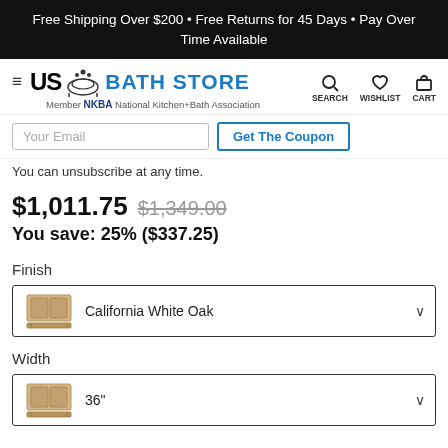Free Shipping Over $200 • Free Returns for 45 Days • Pay Over Time Available
[Figure (logo): US Bath Store logo with hamburger menu, bath icon, and NKBA member text]
Your Email | Get The Coupon
You can unsubscribe at any time.
$1,011.75  $1,349.00
You save: 25% ($337.25)
Finish
California White Oak
Width
36"